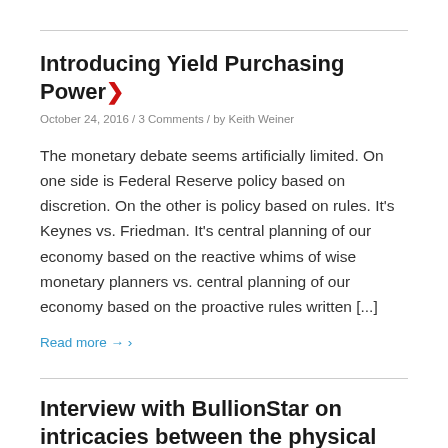Introducing Yield Purchasing Power ❯
October 24, 2016 / 3 Comments / by Keith Weiner
The monetary debate seems artificially limited. On one side is Federal Reserve policy based on discretion. On the other is policy based on rules. It's Keynes vs. Friedman. It's central planning of our economy based on the reactive whims of wise monetary planners vs. central planning of our economy based on the proactive rules written [...]
Read more → ›
Interview with BullionStar on intricacies between the physical and